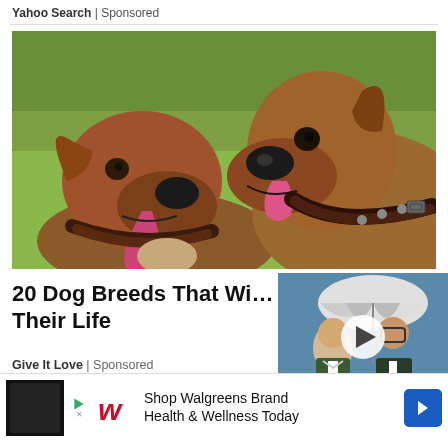Yahoo Search | Sponsored
[Figure (photo): Two boxer dogs facing each other with mouths open and tongues out, on a grassy background]
20 Dog Breeds That Wi... Their Life
Give It Love | Sponsored
[Figure (photo): Video thumbnail showing men in formal wear with umbrellas, with a play button overlay]
[Figure (photo): Walgreens advertisement banner: Shop Walgreens Brand Health & Wellness Today]